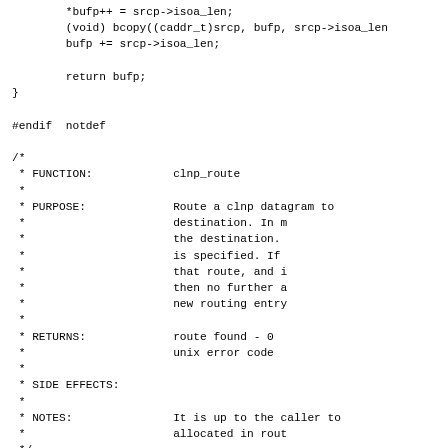Code block showing C function comment header and function signature for clnp_route, including bufp++ assignment, bcopy call, return statement, #endif notdef, and function documentation comment.